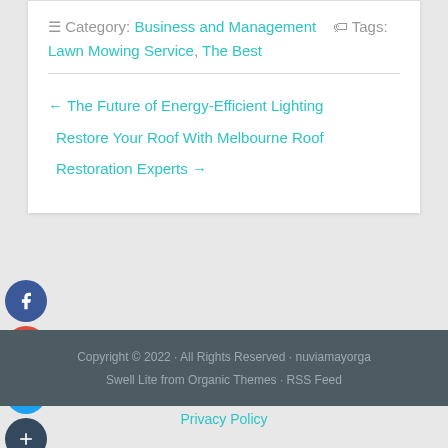Category: Business and Management  Tags: Lawn Mowing Service, The Best
← The Future of Energy-Efficient Lighting
Restore Your Roof With Melbourne Roof Restoration Experts →
Copyright © 2022 · All Rights Reserved · nuviamayorga
Swell Lite from Organic Themes · RSS Feed
Privacy Policy